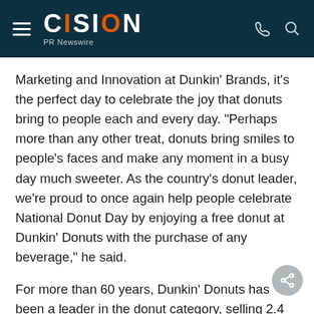CISION PR Newswire
Marketing and Innovation at Dunkin' Brands, it's the perfect day to celebrate the joy that donuts bring to people each and every day. "Perhaps more than any other treat, donuts bring smiles to people's faces and make any moment in a busy day much sweeter. As the country's donut leader, we're proud to once again help people celebrate National Donut Day by enjoying a free donut at Dunkin' Donuts with the purchase of any beverage," he said.
For more than 60 years, Dunkin' Donuts has been a leader in the donut category, selling 2.4 billion do... and MUNCHKINS® donut hole treats annually.